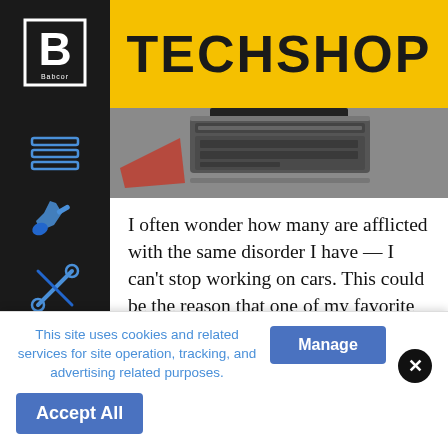TECHSHOP
[Figure (photo): Close-up photo of an automotive toolbox or car part on a grey surface]
I often wonder how many are afflicted with the same disorder I have — I can't stop working on cars. This could be the reason that one of my favorite parts of being an auto technician was always the uniform service. I'd wear my uniform home and work on cars until late in the night, then fix whatever else was needed around the house. I never had to worry about ruining my own clothes.
This site uses cookies and related services for site operation, tracking, and advertising related purposes.
Manage
Accept All